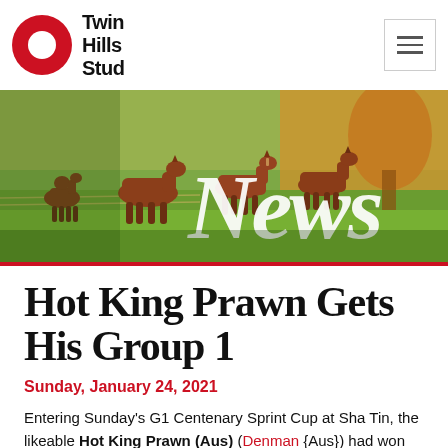Twin Hills Stud
[Figure (photo): Hero banner photo of thoroughbred horses standing in a green paddock at golden hour, with large white italic 'News' text overlaid on the right side]
Hot King Prawn Gets His Group 1
Sunday, January 24, 2021
Entering Sunday's G1 Centenary Sprint Cup at Sha Tin, the likeable Hot King Prawn (Aus) (Denman {Aus}) had won half of his 22 career starts and had been out of the top three on